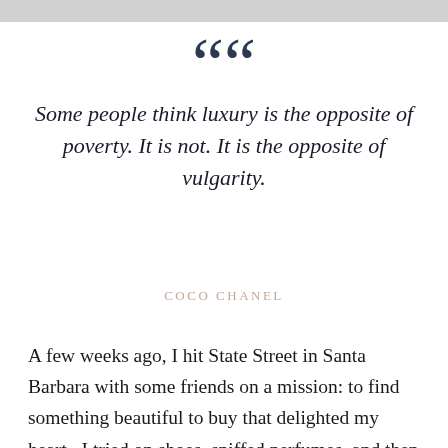““
Some people think luxury is the opposite of poverty. It is not. It is the opposite of vulgarity.
COCO CHANEL
A few weeks ago, I hit State Street in Santa Barbara with some friends on a mission: to find something beautiful to buy that delighted my heart.  I tried on shoes, sniffed perfumes, and then I saw them:  Tom Ford sunglasses. I